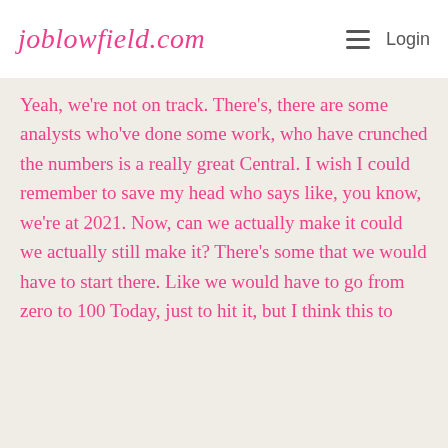joblowfield.com
Yeah, we're not on track. There's, there are some analysts who've done some work, who have crunched the numbers is a really great Central. I wish I could remember to save my head who says like, you know, we're at 2021. Now, can we actually make it could we actually still make it? There's some that we would have to start there. Like we would have to go from zero to 100 Today, just to hit it, but I think this to